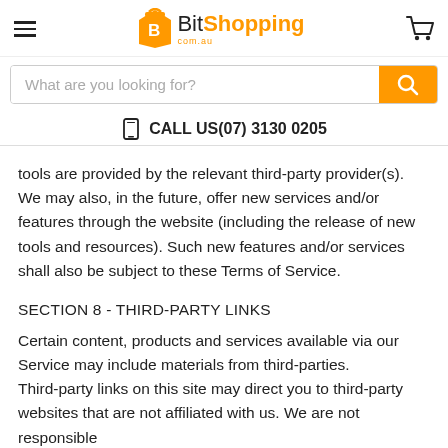BitShopping.com.au — CALL US (07) 3130 0205
tools are provided by the relevant third-party provider(s). We may also, in the future, offer new services and/or features through the website (including the release of new tools and resources). Such new features and/or services shall also be subject to these Terms of Service.
SECTION 8 - THIRD-PARTY LINKS
Certain content, products and services available via our Service may include materials from third-parties.
Third-party links on this site may direct you to third-party websites that are not affiliated with us. We are not responsible